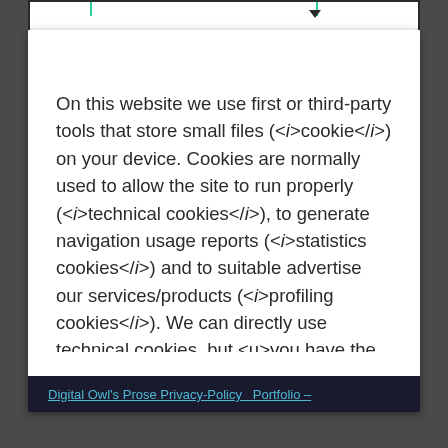On this website we use first or third-party tools that store small files (<i>cookie</i>) on your device. Cookies are normally used to allow the site to run properly (<i>technical cookies</i>), to generate navigation usage reports (<i>statistics cookies</i>) and to suitable advertise our services/products (<i>profiling cookies</i>). We can directly use technical cookies, but <u>you have the right to choose whether or not to enable statistical and profiling cookies</u>. <b>Enabling these cookies, you help us to offer you a better experience</b>.
Digital Owl's Prose Privacy-Policy   Portfolio –